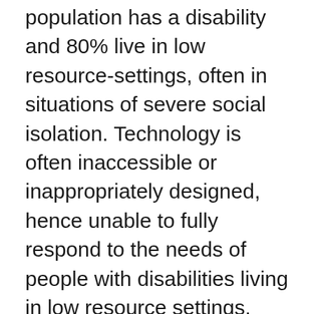population has a disability and 80% live in low resource-settings, often in situations of severe social isolation. Technology is often inaccessible or inappropriately designed, hence unable to fully respond to the needs of people with disabilities living in low resource settings. Also lack of awareness of technology contributes to limited access. This workshop will be a call to arms for researchers in HCI to engage with people with disabilities in low resourced settings to understand their needs and design technology that is both accessible and culturally appropriate. We will achieve this through sharing of research experiences, and exploration of challenges encountered when planning HCID studies featuring